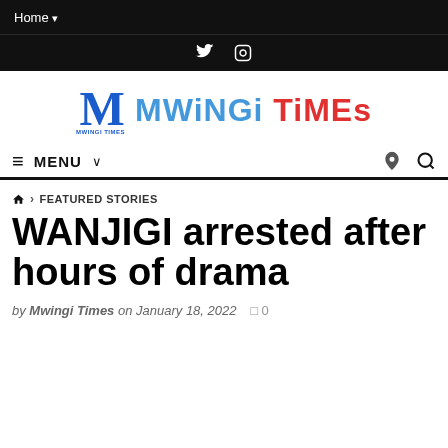Home ▾
[Figure (logo): Mwingi Times logo with stylized MT emblem and colorful lettering]
≡ MENU ∨
🏠 > FEATURED STORIES
WANJIGI arrested after hours of drama
by Mwingi Times on January 18, 2022  0